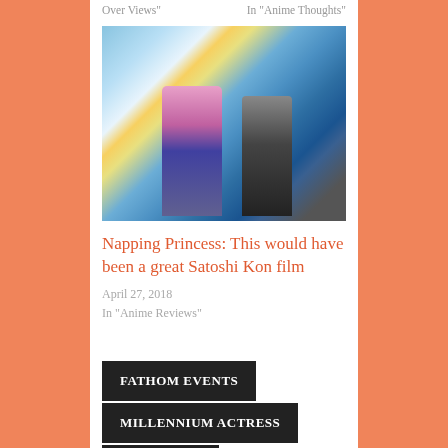Over Views"
In "Anime Thoughts"
[Figure (illustration): Anime illustration showing two characters (a girl in school uniform and a boy) standing outdoors with a cityscape and bright sky in the background]
Napping Princess: This would have been a great Satoshi Kon film
April 27, 2018
In "Anime Reviews"
FATHOM EVENTS
MILLENNIUM ACTRESS
RIGHTSTUF
SATOSHI KON